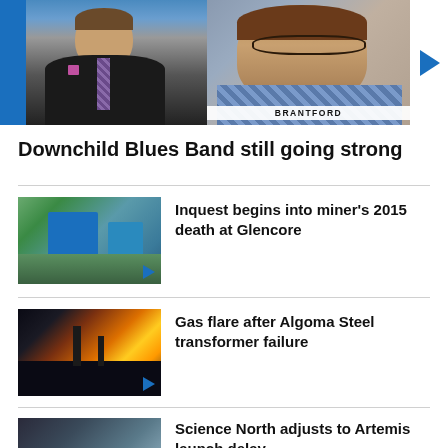[Figure (screenshot): News broadcast thumbnail showing two people: a male anchor in a dark suit on the left and an elderly woman on the right with a BRANTFORD location tag. A blue play button is visible on the right side.]
Downchild Blues Band still going strong
[Figure (photo): Aerial view of Glencore mine facility with blue industrial buildings surrounded by trees. Play button visible.]
Inquest begins into miner's 2015 death at Glencore
[Figure (photo): Night-time photo showing large gas flare and fire at Algoma Steel. Play button visible.]
Gas flare after Algoma Steel transformer failure
[Figure (photo): Interior of Science North museum with a woman visible. Play button area.]
Science North adjusts to Artemis launch delay